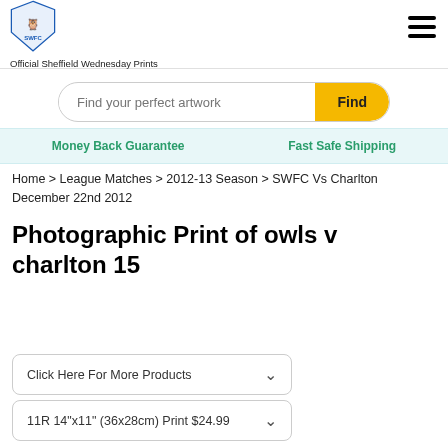[Figure (logo): Sheffield Wednesday FC crest logo (SWFC owl badge, blue and white)]
Official Sheffield Wednesday Prints
Find your perfect artwork
Money Back Guarantee
Fast Safe Shipping
Home > League Matches > 2012-13 Season > SWFC Vs Charlton December 22nd 2012
Photographic Print of owls v charlton 15
Click Here For More Products
11R 14"x11" (36x28cm) Print $24.99